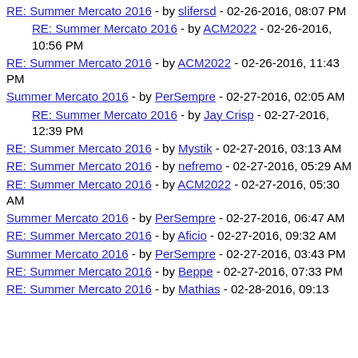RE: Summer Mercato 2016 - by slifersd - 02-26-2016, 08:07 PM
RE: Summer Mercato 2016 - by ACM2022 - 02-26-2016, 10:56 PM
RE: Summer Mercato 2016 - by ACM2022 - 02-26-2016, 11:43 PM
Summer Mercato 2016 - by PerSempre - 02-27-2016, 02:05 AM
RE: Summer Mercato 2016 - by Jay Crisp - 02-27-2016, 12:39 PM
RE: Summer Mercato 2016 - by Mystik - 02-27-2016, 03:13 AM
RE: Summer Mercato 2016 - by nefremo - 02-27-2016, 05:29 AM
RE: Summer Mercato 2016 - by ACM2022 - 02-27-2016, 05:30 AM
Summer Mercato 2016 - by PerSempre - 02-27-2016, 06:47 AM
RE: Summer Mercato 2016 - by Aficio - 02-27-2016, 09:32 AM
Summer Mercato 2016 - by PerSempre - 02-27-2016, 03:43 PM
RE: Summer Mercato 2016 - by Beppe - 02-27-2016, 07:33 PM
RE: Summer Mercato 2016 - by Mathias - 02-28-2016, 09:13